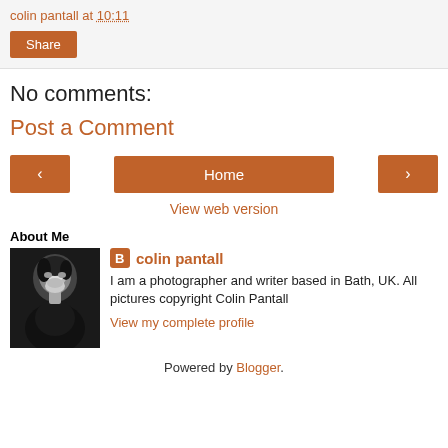colin pantall at 10:11
Share
No comments:
Post a Comment
< Home >
View web version
About Me
[Figure (photo): Black and white profile photo of colin pantall]
colin pantall
I am a photographer and writer based in Bath, UK. All pictures copyright Colin Pantall
View my complete profile
Powered by Blogger.